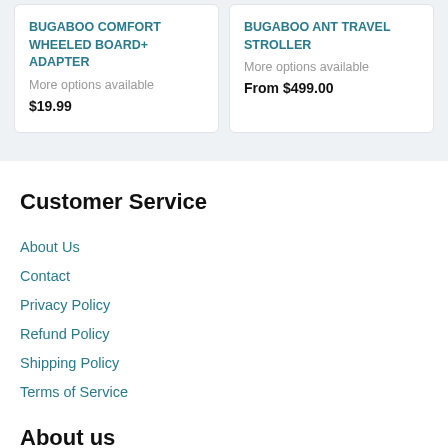BUGABOO COMFORT WHEELED BOARD+ ADAPTER
More options available
$19.99
BUGABOO ANT TRAVEL STROLLER
More options available
From $499.00
Customer Service
About Us
Contact
Privacy Policy
Refund Policy
Shipping Policy
Terms of Service
About us